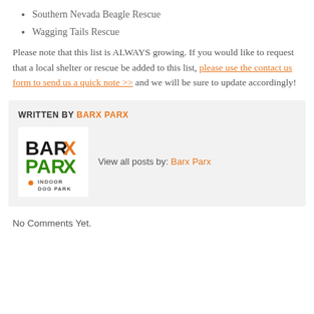Southern Nevada Beagle Rescue
Wagging Tails Rescue
Please note that this list is ALWAYS growing. If you would like to request that a local shelter or rescue be added to this list, please use the contact us form to send us a quick note >> and we will be sure to update accordingly!
WRITTEN BY BARX PARX
[Figure (logo): Barx Parx Indoor Dog Park logo with black and orange BAR, green PARX text, and orange paw print]
View all posts by: Barx Parx
No Comments Yet.